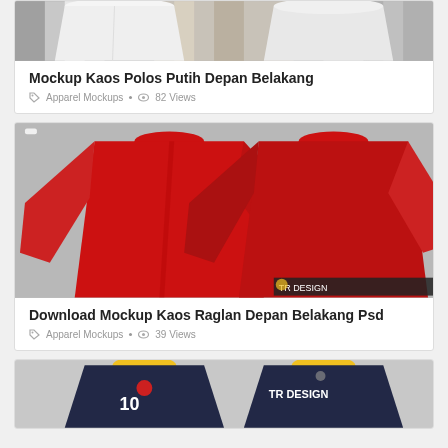[Figure (photo): White plain t-shirts front and back mockup on grey/marble background, partially visible at top]
Mockup Kaos Polos Putih Depan Belakang
Apparel Mockups · 82 Views
[Figure (photo): Red long-sleeve raglan shirts front and back mockup on light grey background]
Download Mockup Kaos Raglan Depan Belakang Psd
Apparel Mockups · 39 Views
[Figure (photo): Navy blue football jerseys front and back mockup with number 10 and TR DESIGN text, gold collar, partially visible at bottom]